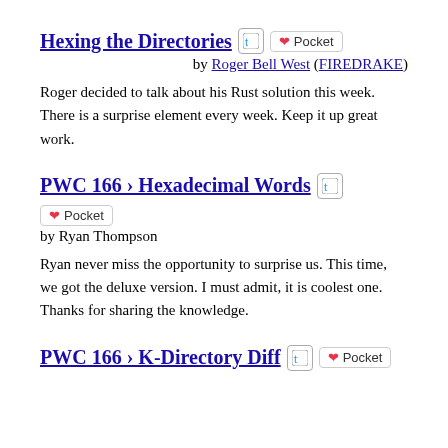Hexing the Directories
by Roger Bell West (FIREDRAKE)
Roger decided to talk about his Rust solution this week. There is a surprise element every week. Keep it up great work.
PWC 166 › Hexadecimal Words
by Ryan Thompson
Ryan never miss the opportunity to surprise us. This time, we got the deluxe version. I must admit, it is coolest one. Thanks for sharing the knowledge.
PWC 166 › K-Directory Diff